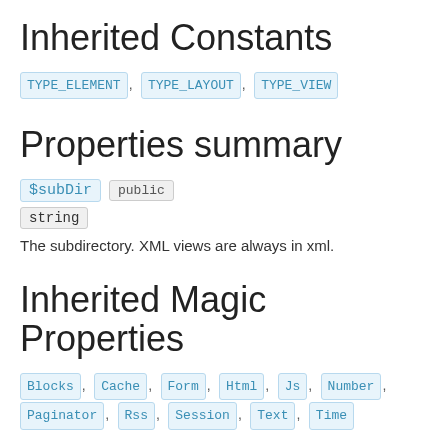Inherited Constants
TYPE_ELEMENT, TYPE_LAYOUT, TYPE_VIEW
Properties summary
$subDir public
string
The subdirectory. XML views are always in xml.
Inherited Magic Properties
Blocks, Cache, Form, Html, Js, Number, Paginator, Rss, Session, Text, Time